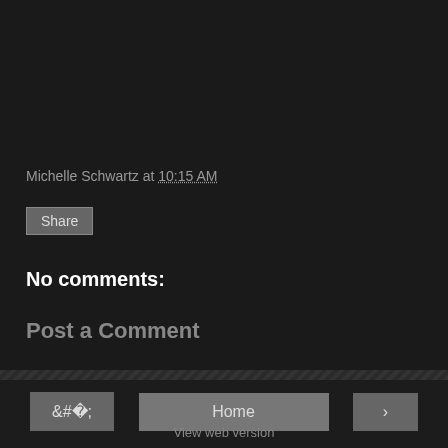Michelle Schwartz at 10:15 AM
Share
No comments:
Post a Comment
< Home > View web version Powered by Blogger.